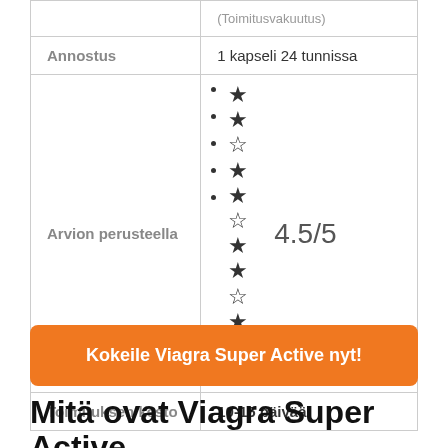|  | (Toimitusvakuutus) |
| --- | --- |
| Annostus | 1 kapseli 24 tunnissa |
| Arvion perusteella | ★★☆★★☆★★☆★☆★  4.5/5 |
| Toimituksen kesto | 10-15 päivää |
Kokeile Viagra Super Active nyt!
Mitä ovat Viagra Super Active